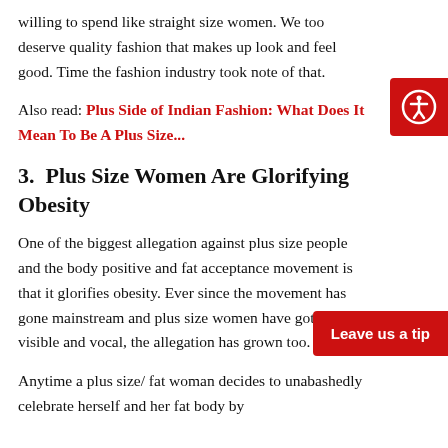willing to spend like straight size women. We too deserve quality fashion that makes up look and feel good. Time the fashion industry took note of that.
Also read: Plus Side of Indian Fashion: What Does It Mean To Be A Plus Size...
3.  Plus Size Women Are Glorifying Obesity
One of the biggest allegation against plus size people and the body positive and fat acceptance movement is that it glorifies obesity. Ever since the movement has gone mainstream and plus size women have gotten more visible and vocal, the allegation has grown too.
Anytime a plus size/ fat woman decides to unabashedly celebrate herself and her fat body by